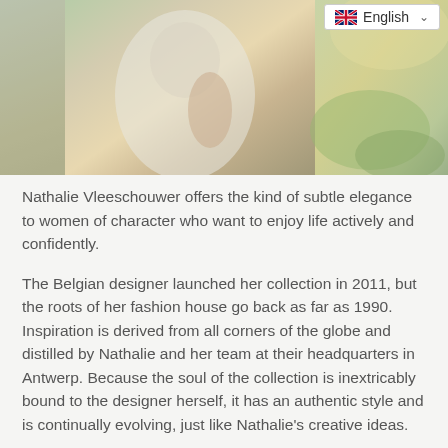[Figure (photo): Partial photo of a woman in white clothing outdoors in a green/golden natural setting, with a language selector showing English flag in the top-right corner]
Nathalie Vleeschouwer offers the kind of subtle elegance to women of character who want to enjoy life actively and confidently.
The Belgian designer launched her collection in 2011, but the roots of her fashion house go back as far as 1990. Inspiration is derived from all corners of the globe and distilled by Nathalie and her team at their headquarters in Antwerp. Because the soul of the collection is inextricably bound to the designer herself, it has an authentic style and is continually evolving, just like Nathalie's creative ideas.
Experience, craftsmanship and lasting partnerships with a handful of suppliers and workshops form the basis of every garment that bears her name. Made with love, so that you can wear it again and again, and mix & match it with different items every season. Where the creativity of